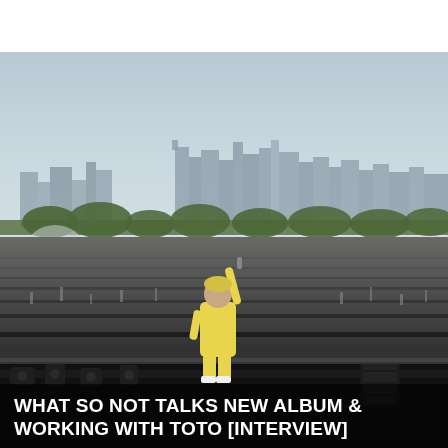[Figure (photo): A performer in a yellow outfit stands on stage with one arm raised holding a microphone, facing an enormous crowd at an outdoor music festival. The Chicago skyline is visible in the background under a hazy sky. Smoke rises from the left side of the stage. The crowd fills the entire field.]
WHAT SO NOT TALKS NEW ALBUM & WORKING WITH TOTO [INTERVIEW]